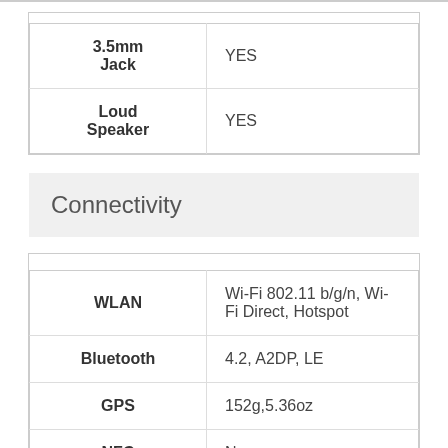| Feature | Value |
| --- | --- |
| 3.5mm Jack | YES |
| Loud Speaker | YES |
Connectivity
| Feature | Value |
| --- | --- |
| WLAN | Wi-Fi 802.11 b/g/n, Wi-Fi Direct, Hotspot |
| Bluetooth | 4.2, A2DP, LE |
| GPS | 152g,5.36oz |
| NFC | No |
| Radio | 13 MP, PDAF 2 MP, (depth) |